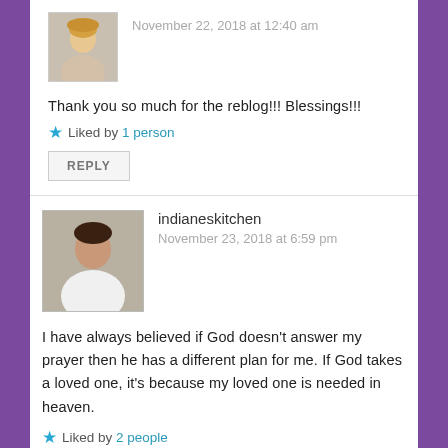[Figure (photo): Avatar photo of a blonde woman smiling, small square thumbnail]
November 22, 2018 at 12:40 am
Thank you so much for the reblog!!! Blessings!!!
Liked by 1 person
REPLY
[Figure (photo): Avatar photo of a dark-haired woman in white shirt, square thumbnail]
indianeskitchen
November 23, 2018 at 6:59 pm
I have always believed if God doesn't answer my prayer then he has a different plan for me. If God takes a loved one, it's because my loved one is needed in heaven.
Liked by 2 people
REPLY